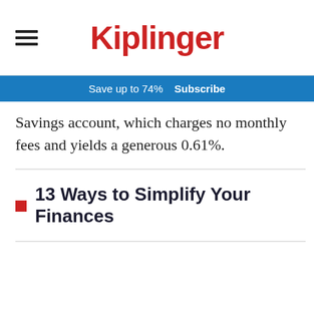Kiplinger
Save up to 74%  Subscribe
Savings account, which charges no monthly fees and yields a generous 0.61%.
13 Ways to Simplify Your Finances